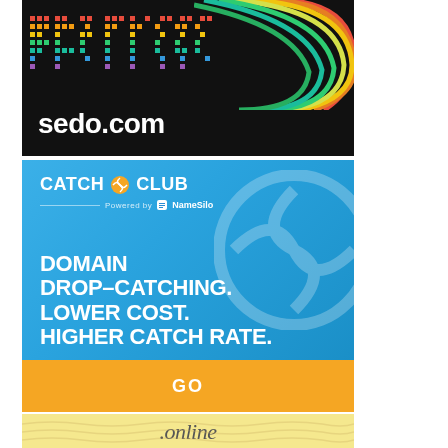[Figure (illustration): sedo.com advertisement banner with black background, colorful rainbow striped lines on right side, pixel/dot art on left, and 'sedo.com' white text at bottom left]
[Figure (illustration): Catch Club domain drop-catching advertisement. Blue gradient background with tennis ball watermark. Logo 'CATCH [ball icon] CLUB Powered by NameSilo'. Headline: 'DOMAIN DROP-CATCHING. LOWER COST. HIGHER CATCH RATE.' Orange bar at bottom with 'GO' text]
[Figure (illustration): Partial advertisement showing '.online' domain service with sandy/yellow background]